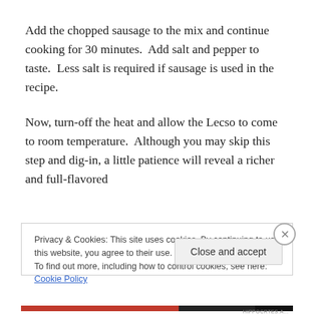Add the chopped sausage to the mix and continue cooking for 30 minutes.  Add salt and pepper to taste.  Less salt is required if sausage is used in the recipe.
Now, turn-off the heat and allow the Lecso to come to room temperature.  Although you may skip this step and dig-in, a little patience will reveal a richer and full-flavored
Privacy & Cookies: This site uses cookies. By continuing to use this website, you agree to their use.
To find out more, including how to control cookies, see here: Cookie Policy
Close and accept